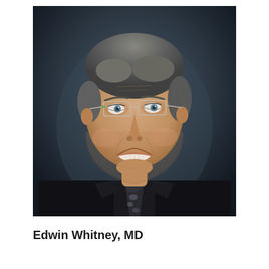[Figure (photo): Professional headshot of Edwin Whitney, MD. A middle-aged man with short gray hair, wearing rectangular rimless glasses, a dark suit jacket, dark collared shirt, and a patterned dark tie. He is smiling broadly against a dark gray studio background.]
Edwin Whitney, MD